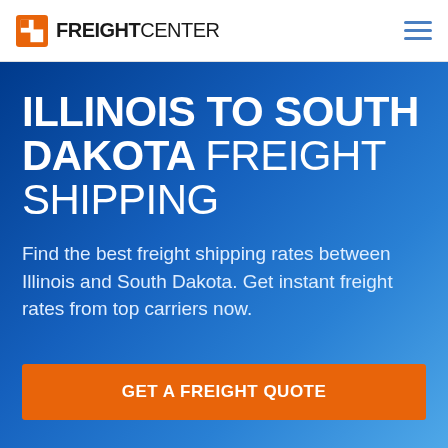FreightCenter
ILLINOIS TO SOUTH DAKOTA FREIGHT SHIPPING
Find the best freight shipping rates between Illinois and South Dakota. Get instant freight rates from top carriers now.
GET A FREIGHT QUOTE